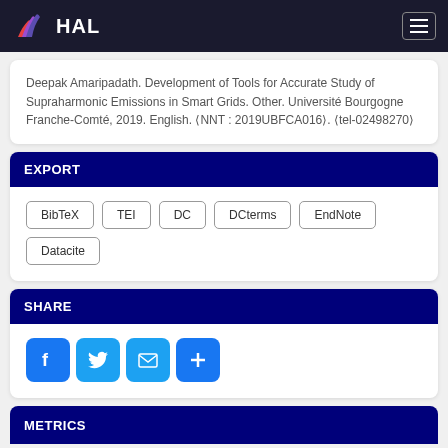HAL
Deepak Amaripadath. Development of Tools for Accurate Study of Supraharmonic Emissions in Smart Grids. Other. Université Bourgogne Franche-Comté, 2019. English. ⟨NNT : 2019UBFCA016⟩. ⟨tel-02498270⟩
EXPORT
BibTeX
TEI
DC
DCterms
EndNote
Datacite
SHARE
[Figure (infographic): Social share buttons: Facebook, Twitter, Email, and plus/more button]
METRICS